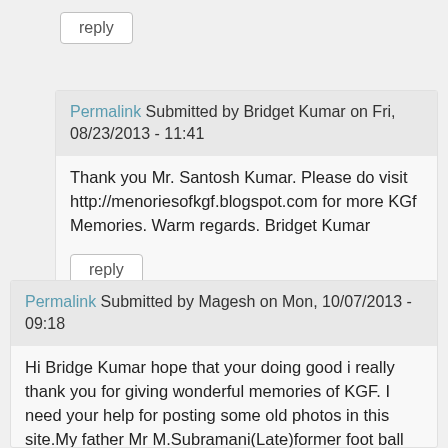reply
Permalink Submitted by Bridget Kumar on Fri, 08/23/2013 - 11:41
Thank you Mr. Santosh Kumar. Please do visit http://menoriesofkgf.blogspot.com for more KGf Memories. Warm regards. Bridget Kumar
reply
Permalink Submitted by Magesh on Mon, 10/07/2013 - 09:18
Hi Bridge Kumar hope that your doing good i really thank you for giving wonderful memories of KGF. I need your help for posting some old photos in this site.My father Mr M.Subramani(Late)former foot ball player from KGF and moved to madras representing southern railway. He was also part first